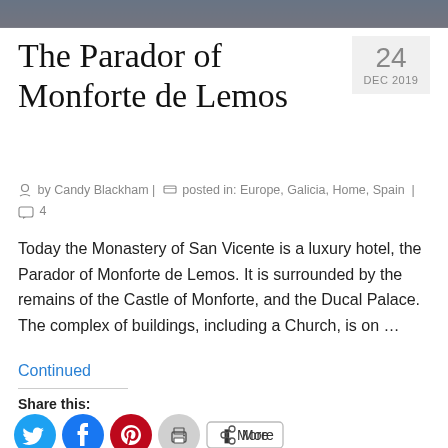[Figure (photo): Top portion of a decorative/scenic photo, partially visible at top of page]
The Parador of Monforte de Lemos
by Candy Blackham | posted in: Europe, Galicia, Home, Spain | 4
Today the Monastery of San Vicente is a luxury hotel, the Parador of Monforte de Lemos. It is surrounded by the remains of the Castle of Monforte, and the Ducal Palace. The complex of buildings, including a Church, is on …
Continued
Share this:
[Figure (infographic): Social share buttons: Twitter (cyan), Facebook (blue), Pinterest (red), Print (gray), More (outlined pill button)]
Like this: